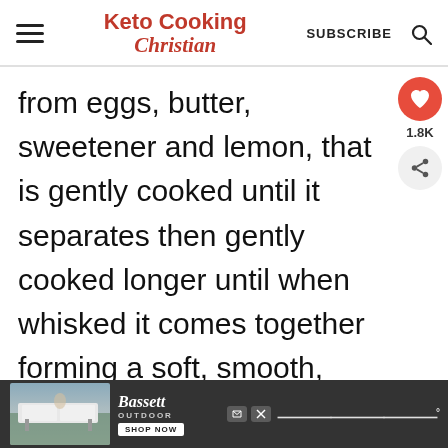Keto Cooking Christian | SUBSCRIBE
from eggs, butter, sweetener and lemon, that is gently cooked until it separates then gently cooked longer until when whisked it comes together forming a soft, smooth, lemony spread.
[Figure (screenshot): What's Next thumbnail - egg yolk image with label '5 Minute Microwave...']
[Figure (photo): Advertisement banner for Bassett Outdoor furniture showing outdoor dining set]